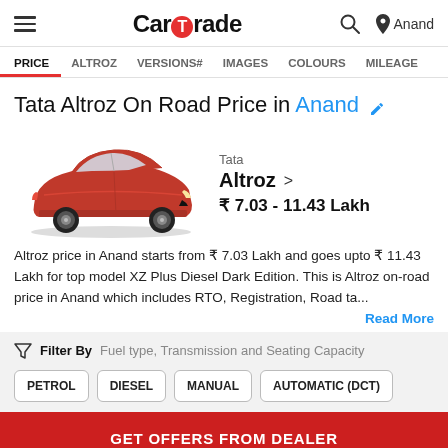CarTrade — Search — Anand
PRICE  ALTROZ  VERSIONS#  IMAGES  COLOURS  MILEAGE
Tata Altroz On Road Price in Anand
[Figure (photo): Red Tata Altroz hatchback car image]
Tata
Altroz >
₹ 7.03 - 11.43 Lakh
Altroz price in Anand starts from ₹ 7.03 Lakh and goes upto ₹ 11.43 Lakh for top model XZ Plus Diesel Dark Edition. This is Altroz on-road price in Anand which includes RTO, Registration, Road tax...
Read More
Filter By  Fuel type, Transmission and Seating Capacity
PETROL
DIESEL
MANUAL
AUTOMATIC (DCT)
GET OFFERS FROM DEALER